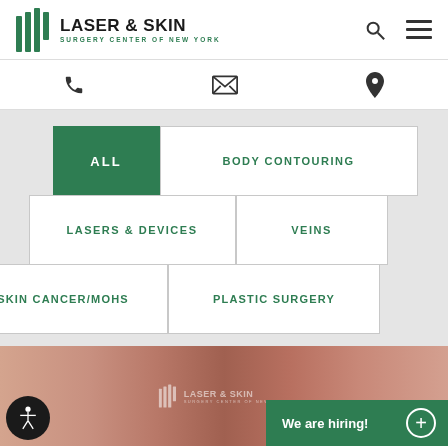[Figure (logo): Laser & Skin Surgery Center of New York logo with green vertical bar icon]
LASER & SKIN SURGERY CENTER OF NEW YORK
Phone icon
Email/envelope icon
Location pin icon
ALL
BODY CONTOURING
LASERS & DEVICES
VEINS
SKIN CANCER/MOHS
PLASTIC SURGERY
[Figure (photo): Before/after photo of skin treatment on a person's face with Laser & Skin watermark]
We are hiring!